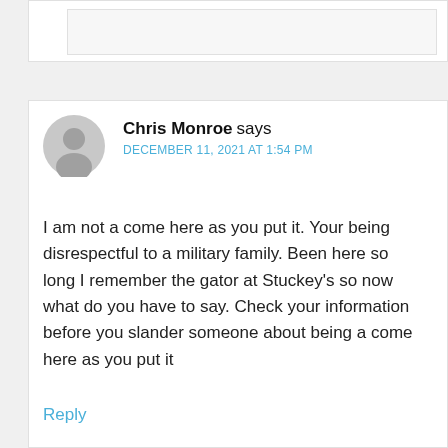Chris Monroe says
DECEMBER 11, 2021 AT 1:54 PM

I am not a come here as you put it. Your being disrespectful to a military family. Been here so long I remember the gator at Stuckey's so now what do you have to say. Check your information before you slander someone about being a come here as you put it

Reply